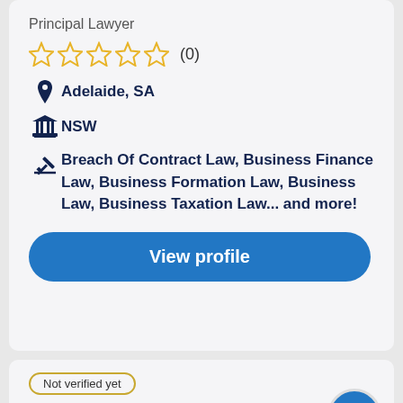Principal Lawyer
[Figure (other): Five empty star rating icons followed by (0)]
Adelaide, SA
NSW
Breach Of Contract Law, Business Finance Law, Business Formation Law, Business Law, Business Taxation Law... and more!
View profile
Not verified yet
Richard Gelski